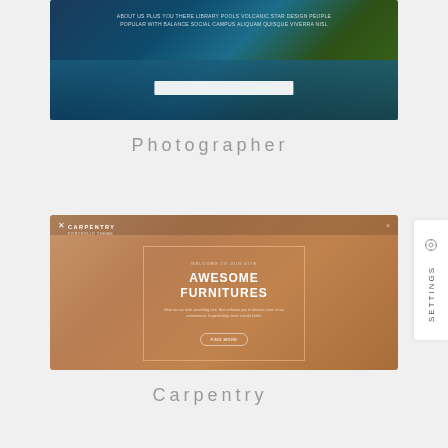[Figure (screenshot): Photographer website screenshot showing a dark scenic landscape with a lake and mountains, a white overlay bar, and small text at the top]
Photographer
[Figure (screenshot): Carpentry website screenshot with warm brown/tan color scheme showing navigation bar with 'CARPENTRY' logo and hero section with text 'AWESOME FURNITURES' inside a bracket frame, with a button below]
Carpentry